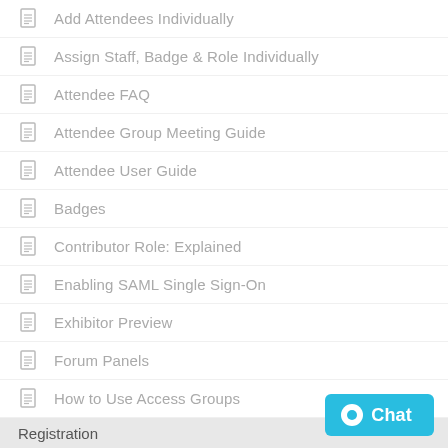Add Attendees Individually
Assign Staff, Badge & Role Individually
Attendee FAQ
Attendee Group Meeting Guide
Attendee User Guide
Badges
Contributor Role: Explained
Enabling SAML Single Sign-On
Exhibitor Preview
Forum Panels
How to Use Access Groups
Staff, Badge, and Role: Explained
Registration